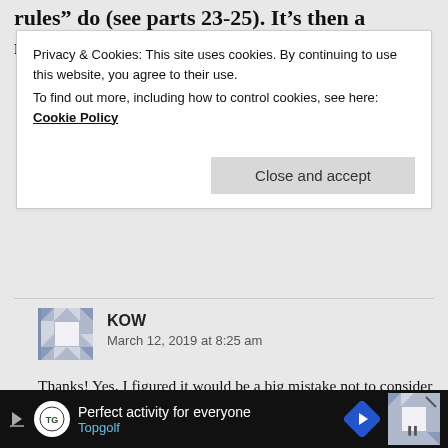rules" do (see parts 23-25). It's then a matter of
Privacy & Cookies: This site uses cookies. By continuing to use this website, you agree to their use. To find out more, including how to control cookies, see here: Cookie Policy
Close and accept
KOW
March 12, 2019 at 8:25 am
Thanks! Yes, I figured it would be a big mistake not to consider taxes. There isn't much on the subject of taxes in the FIRE community in regards to SWR, as I suspect most fall within the leanFIRE and regular FIRE communities and thus have a 0% LTCG
Perfect activity for everyone
Topgolf